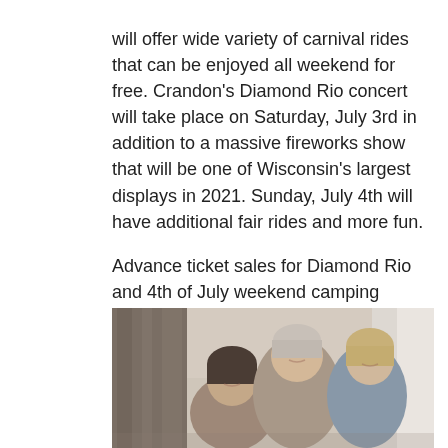will offer wide variety of carnival rides that can be enjoyed all weekend for free. Crandon's Diamond Rio concert will take place on Saturday, July 3rd in addition to a massive fireworks show that will be one of Wisconsin's largest displays in 2021. Sunday, July 4th will have additional fair rides and more fun.

Advance ticket sales for Diamond Rio and 4th of July weekend camping reservations at Camp Crandon are now available by visiting www.crandonoffroad.com.
[Figure (photo): Group photo of several people (members of Diamond Rio) smiling together, with a dark textured wall or tree on the left and a lighter wall on the right. The image is cropped and shows at least three people visible from the waist up.]